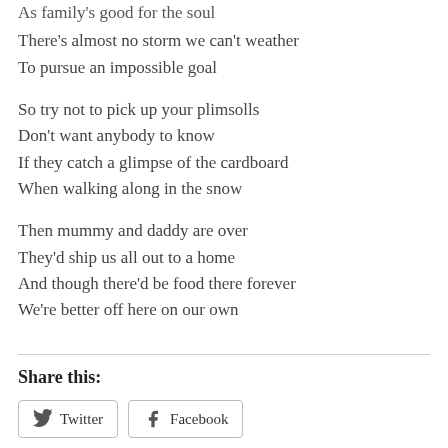As family's good for the soul
There's almost no storm we can't weather
To pursue an impossible goal
So try not to pick up your plimsolls
Don't want anybody to know
If they catch a glimpse of the cardboard
When walking along in the snow
Then mummy and daddy are over
They'd ship us all out to a home
And though there'd be food there forever
We're better off here on our own
Share this:
Twitter
Facebook